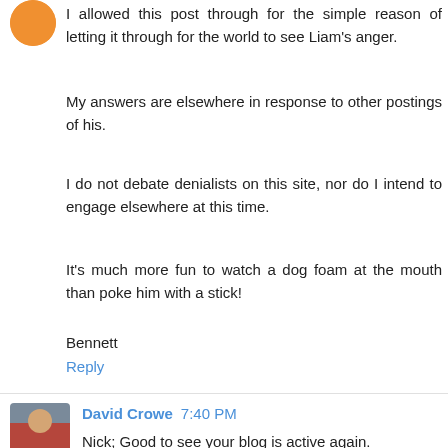I allowed this post through for the simple reason of letting it through for the world to see Liam's anger.
My answers are elsewhere in response to other postings of his.
I do not debate denialists on this site, nor do I intend to engage elsewhere at this time.
It's much more fun to watch a dog foam at the mouth than poke him with a stick!
Bennett
Reply
David Crowe  7:40 PM
Nick; Good to see your blog is active again.
If a test is 99% accurate that means that, when used on people without the condition there will be 1% false positives...